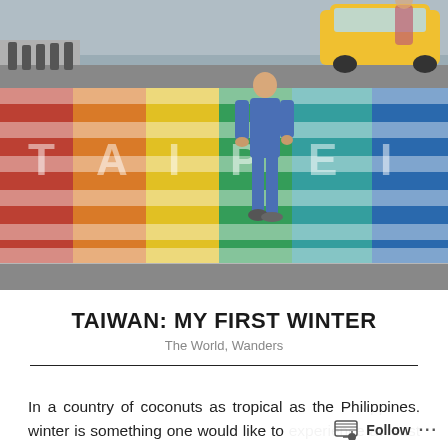[Figure (photo): Rainbow pedestrian crosswalk with 'TAIPEI' letters painted on it. A person in a blue outfit walks across. A yellow taxi is visible in the upper right. Bollards line the sidewalk. The scene is an outdoor urban street.]
TAIWAN: MY FIRST WINTER
The World, Wanders
In a country of coconuts as tropical as the Philippines, winter is something one would like to experience at least once in his or her lifetime. So here I am, someone whose mood is affected by the